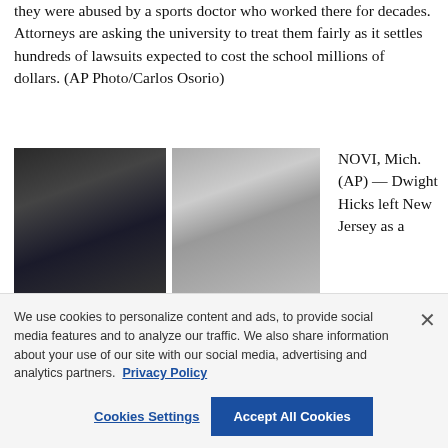they were abused by a sports doctor who worked there for decades. Attorneys are asking the university to treat them fairly as it settles hundreds of lawsuits expected to cost the school millions of dollars. (AP Photo/Carlos Osorio)
[Figure (photo): Three photos: top-left shows a Black man in a suit at a microphone (color photo), top-right shows a white man with glasses in a black-and-white portrait, bottom-left shows another Black man (color photo).]
NOVI, Mich. (AP) — Dwight Hicks left New Jersey as a
We use cookies to personalize content and ads, to provide social media features and to analyze our traffic. We also share information about your use of our site with our social media, advertising and analytics partners. Privacy Policy
Cookies Settings
Accept All Cookies